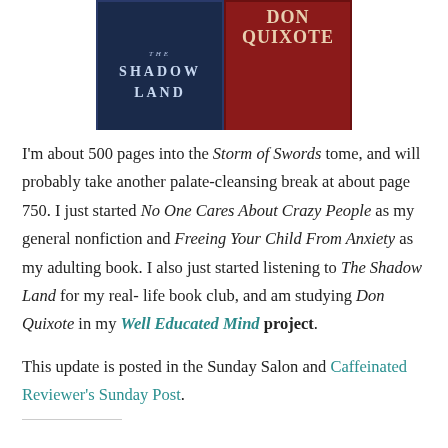[Figure (photo): Two book covers side by side: The Shadow Land (dark blue cover) on the left and Don Quixote (dark red cover) on the right.]
I'm about 500 pages into the Storm of Swords tome, and will probably take another palate-cleansing break at about page 750. I just started No One Cares About Crazy People as my general nonfiction and Freeing Your Child From Anxiety as my adulting book. I also just started listening to The Shadow Land for my real-life book club, and am studying Don Quixote in my Well Educated Mind project.
This update is posted in the Sunday Salon and Caffeinated Reviewer's Sunday Post.